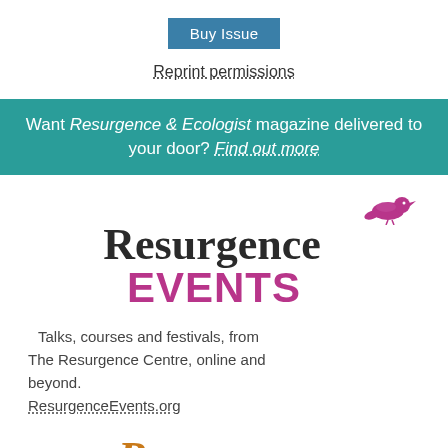[Figure (logo): Buy Issue button - blue rectangular button with white text]
Reprint permissions
Want Resurgence & Ecologist magazine delivered to your door? Find out more
[Figure (logo): Resurgence Events logo with purple bird silhouette on top, 'Resurgence' in dark serif font and 'EVENTS' in bold magenta sans-serif]
Talks, courses and festivals, from The Resurgence Centre, online and beyond. ResurgenceEvents.org
[Figure (logo): Resurgence logo in golden-orange italic serif font - partially visible at bottom]